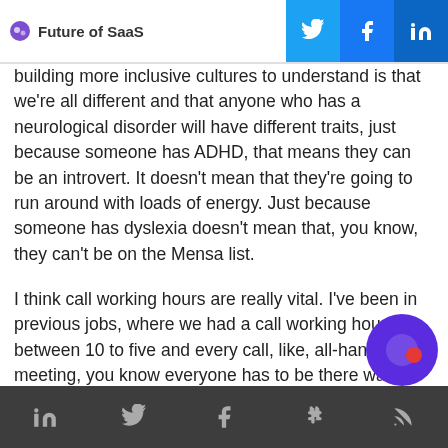Future of SaaS
building more inclusive cultures to understand is that we're all different and that anyone who has a neurological disorder will have different traits, just because someone has ADHD, that means they can be an introvert. It doesn't mean that they're going to run around with loads of energy. Just because someone has dyslexia doesn't mean that, you know, they can't be on the Mensa list.

I think call working hours are really vital. I've been in previous jobs, where we had a call working hour between 10 to five and every call, like, all-hands meeting, you know everyone has to be there was between those hours. And if you did anything out of those hours, it was an exception.
social icons: linkedin, twitter, facebook, slack, rss